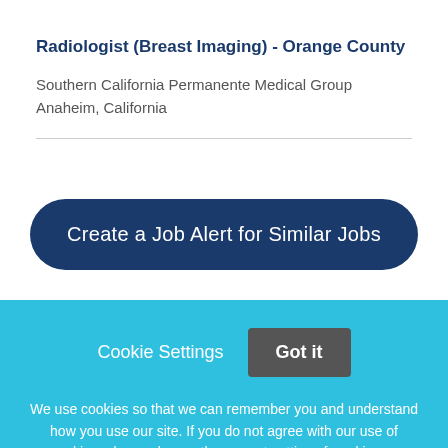Radiologist (Breast Imaging) - Orange County
Southern California Permanente Medical Group
Anaheim, California
Create a Job Alert for Similar Jobs
Cookie Settings  Got it
We use cookies so that we can remember you and understand how you use our site. If you do not agree with our use of cookies, please change the current settings found in our Cookie Policy. Otherwise, you agree to the use of the cookies as they are currently set.